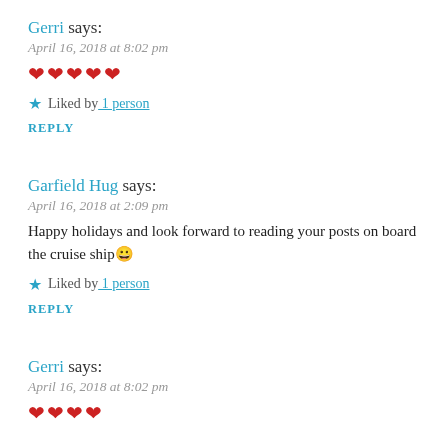Gerri says:
April 16, 2018 at 8:02 pm
❤❤❤❤❤
★ Liked by 1 person
REPLY
Garfield Hug says:
April 16, 2018 at 2:09 pm
Happy holidays and look forward to reading your posts on board the cruise ship😀
★ Liked by 1 person
REPLY
Gerri says:
April 16, 2018 at 8:02 pm
❤❤❤❤